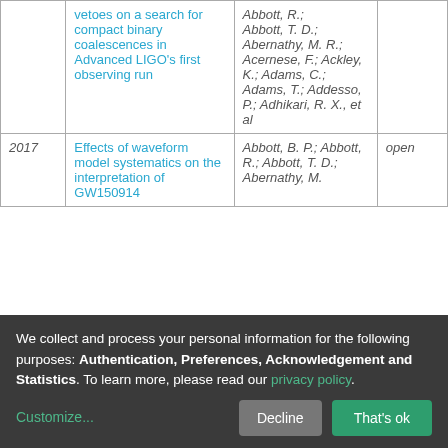| Year | Title | Authors | Access |
| --- | --- | --- | --- |
|  | vetoes on a search for compact binary coalescences in Advanced LIGO's first observing run | Abbott, R.; Abbott, T. D.; Abernathy, M. R.; Acernese, F.; Ackley, K.; Adams, C.; Adams, T.; Addesso, P.; Adhikari, R. X., et al |  |
| 2017 | Effects of waveform model systematics on the interpretation of GW150914 | Abbott, B. P.; Abbott, R.; Abbott, T. D.; Abernathy, M. | open |
We collect and process your personal information for the following purposes: Authentication, Preferences, Acknowledgement and Statistics. To learn more, please read our privacy policy.